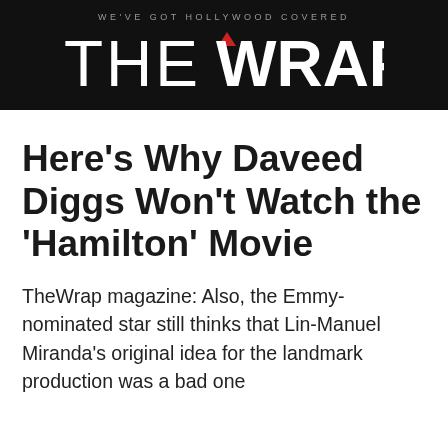WE'VE GOT HOLLYWOOD COVERED
[Figure (logo): TheWrap logo — white bold sans-serif text 'THE WRAP' with a small red triangle/arrow accent above the W, on black background]
Here's Why Daveed Diggs Won't Watch the 'Hamilton' Movie
TheWrap magazine: Also, the Emmy-nominated star still thinks that Lin-Manuel Miranda's original idea for the landmark production was a bad one